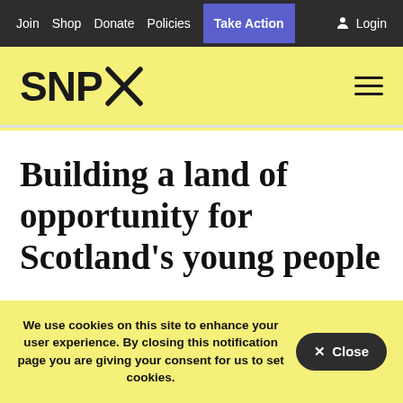Join Shop Donate Policies Take Action Login
[Figure (logo): SNP logo with saltire symbol]
Building a land of opportunity for Scotland’s young people
We’re determined to make Scotland the
We use cookies on this site to enhance your user experience. By closing this notification page you are giving your consent for us to set cookies.